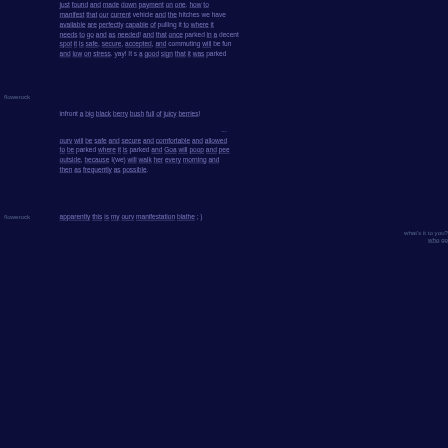just found and made down payment on one. how to manifest that our current vehicle and the hitches we have available are perfectly capable of pulling it to where it needs to go and as needed! and that once parked in a decent spot it is safe, secure, accepted, and commuting will be fun and low on stress. yay! It s a good sign that it was parked infront a big black berry bush full of juicy berries!
flowerock
...
ourv will be safe and secure and comfortable and allowed to be parked where it is parked and Goa will poop and pee outside, because I(we) will walk her every morning and then as frequently as possible.
flowerock
apparently this is my ourv manifestation blathe ; )
what's it to you?
who go